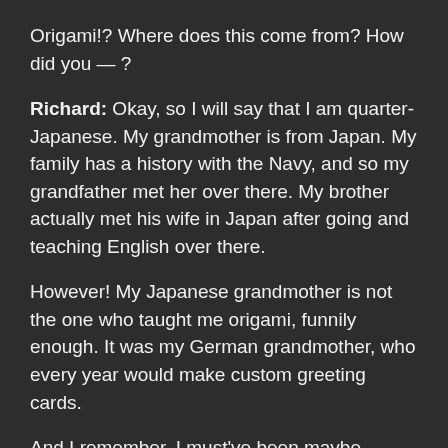Origami!? Where does this come from? How did you — ?
Richard: Okay, so I will say that I am quarter-Japanese. My grandmother is from Japan. My family has a history with the Navy, and so my grandfather met her over there. My brother actually met his wife in Japan after going and teaching English over there.
However! My Japanese grandmother is not the one who taught me origami, funnily enough. It was my German grandmother, who every year would make custom greeting cards.
And I remember, I must've been maybe, maybe 10 years old or so, and she made this greeting card. And it was actually an eight and a half by eleven piece of blue construction paper. And what she had done is she had cut out a bunch of plant shapes and things like that and